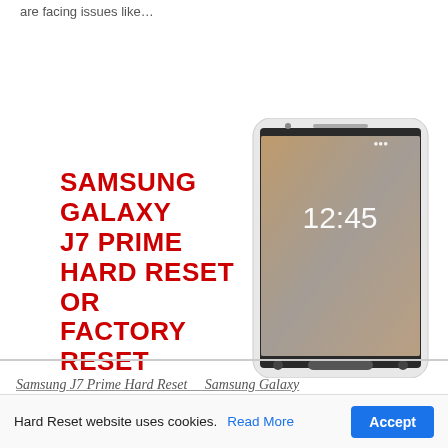are facing issues like…
[Figure (infographic): Samsung Galaxy J7 Prime Hard Reset or Factory Reset infographic with bold red text on left and a photo of the Samsung Galaxy J7 Prime smartphone on the right showing lock screen at 12:45]
Samsung J7 Prime Hard Reset   Samsung Galaxy
Hard Reset website uses cookies.  Read More  Accept